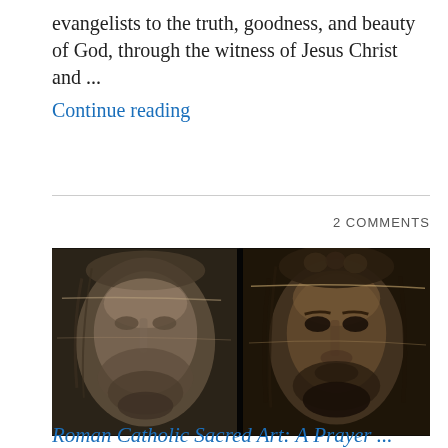evangelists to the truth, goodness, and beauty of God, through the witness of Jesus Christ and ...
Continue reading
2 COMMENTS
[Figure (photo): Black and white photograph showing two side-by-side views of the Shroud of Turin face image — a negative and a processed version showing a bearded man's face]
Roman Catholic Sacred Art: A Prayer ...